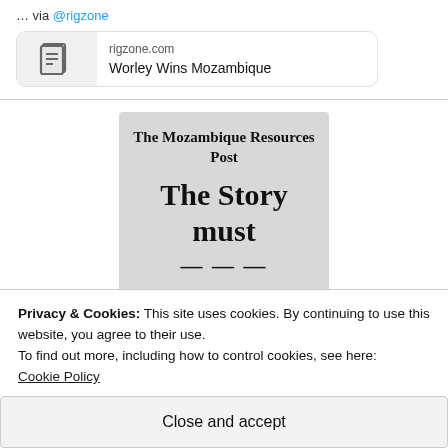… via @rigzone
[Figure (screenshot): Link preview card showing rigzone.com domain and 'Worley Wins Mozambique' title with a document icon]
[Figure (screenshot): Newspaper-style image card showing 'The Mozambique Resources Post' masthead and headline 'The Story must']
Privacy & Cookies: This site uses cookies. By continuing to use this website, you agree to their use.
To find out more, including how to control cookies, see here:
Cookie Policy
Close and accept